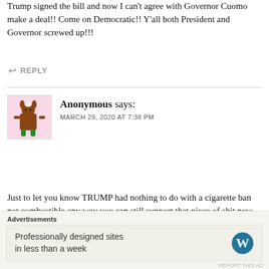Trump signed the bill and now I can't agree with Governor Cuomo make a deal!! Come on Democratic!! Y'all both President and Governor screwed up!!!
↩ REPLY
Anonymous says:
MARCH 29, 2020 AT 7:38 PM
Just to let you know TRUMP had nothing to do with a cigarette ban not combustible any way you can still support that piece of shit new York hating, criminal releasing ,unsafe ,ventilator hoarding scumbag you call a governor TRUMP 2020
↩ REPLY
Advertisements
Professionally designed sites in less than a week